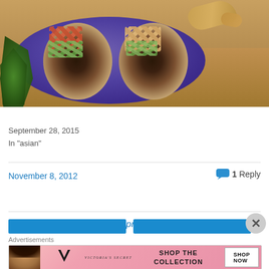[Figure (photo): Photo of eggplant and spicy tofu spring rolls cut in half on a purple plate, with fresh basil and ginger root on a wooden surface]
Eggplant and Spicy Tofu Spring Rolls
September 28, 2015
In "asian"
November 8, 2012
1 Reply
[Figure (advertisement): Victoria's Secret advertisement banner: SHOP THE COLLECTION - SHOP NOW button]
Advertisements